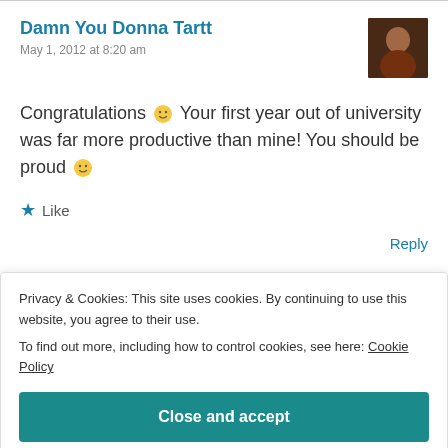Damn You Donna Tartt
May 1, 2012 at 8:20 am
Congratulations 🙂 Your first year out of university was far more productive than mine! You should be proud 🙂
★ Like
Reply
Privacy & Cookies: This site uses cookies. By continuing to use this website, you agree to their use. To find out more, including how to control cookies, see here: Cookie Policy
Close and accept
awesome life, too, making it big in the city! NYC, I